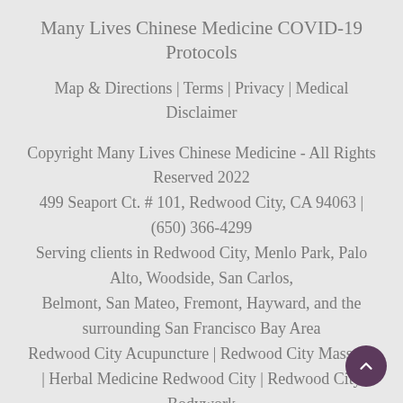Many Lives Chinese Medicine COVID-19 Protocols
Map & Directions | Terms | Privacy | Medical Disclaimer
Copyright Many Lives Chinese Medicine - All Rights Reserved 2022
499 Seaport Ct. # 101, Redwood City, CA 94063 | (650) 366-4299
Serving clients in Redwood City, Menlo Park, Palo Alto, Woodside, San Carlos,
Belmont, San Mateo, Fremont, Hayward, and the surrounding San Francisco Bay Area
Redwood City Acupuncture | Redwood City Massage | Herbal Medicine Redwood City | Redwood City Bodywork
Website Design Virtual Design LLC